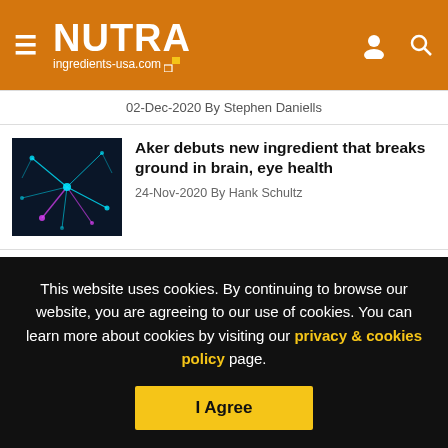NUTRA ingredients-usa.com
02-Dec-2020 By Stephen Daniells
Aker debuts new ingredient that breaks ground in brain, eye health
24-Nov-2020 By Hank Schultz
Stakeholders find some alignment with AMA's call for more FDA enforcement of supplement market
This website uses cookies. By continuing to browse our website, you are agreeing to our use of cookies. You can learn more about cookies by visiting our privacy & cookies policy page.